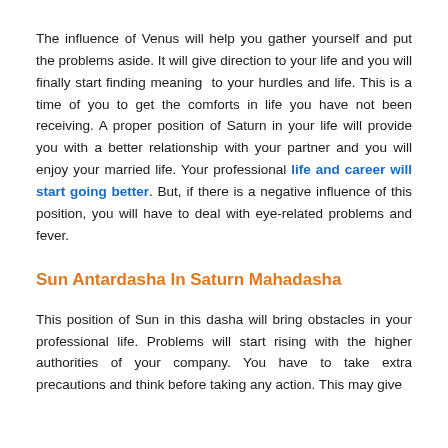The influence of Venus will help you gather yourself and put the problems aside. It will give direction to your life and you will finally start finding meaning to your hurdles and life. This is a time of you to get the comforts in life you have not been receiving. A proper position of Saturn in your life will provide you with a better relationship with your partner and you will enjoy your married life. Your professional life and career will start going better. But, if there is a negative influence of this position, you will have to deal with eye-related problems and fever.
Sun Antardasha In Saturn Mahadasha
This position of Sun in this dasha will bring obstacles in your professional life. Problems will start rising with the higher authorities of your company. You have to take extra precautions and think before taking any action. This may give